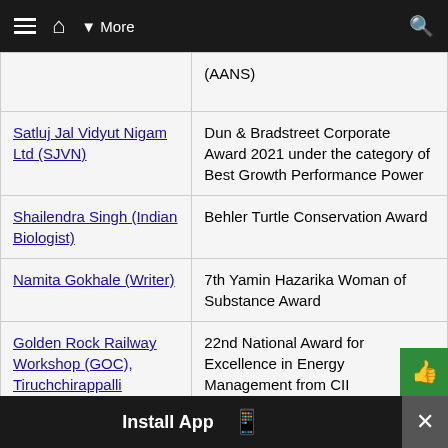≡  🏠  ▾ More   🔍
| Entity | Award |
| --- | --- |
|  | (AANS) |
| Satluj Jal Vidyut Nigam Ltd (SJVN) | Dun & Bradstreet Corporate Award 2021 under the category of Best Growth Performance Power |
| Shailendra Singh (Indian Biologist) | Behler Turtle Conservation Award |
| Namita Gokhale (Writer) | 7th Yamin Hazarika Woman of Substance Award |
| Golden Rock Railway Workshop (GOC), Tiruchchirappalli | 22nd National Award for Excellence in Energy Management from CII |
Install App  [Android] [Apple]  ×